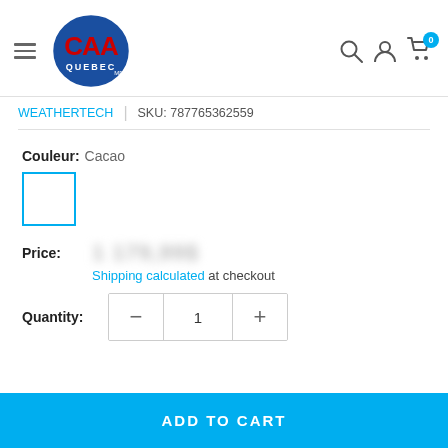[Figure (logo): CAA Quebec logo - blue oval with red CAA letters and QUEBEC text below]
WEATHERTECH  |  SKU: 787765362559
Couleur:  Cacao
[Figure (other): White color swatch with blue border, selected state]
Price: [blurred price]
Shipping calculated at checkout
Quantity: 1
ADD TO CART